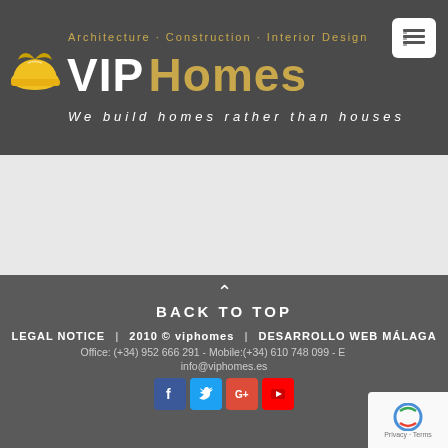[Figure (logo): VIP Homes logo with yellow hard hat icon, white and gold brand name, subtitle Architecture · Construction · Interior Design, tagline We build homes rather than houses]
BACK TO TOP
LEGAL NOTICE | 2010 © viphomes | DESARROLLO WEB MÁLAGA
Office: (+34) 952 666 291 - Mobile:(+34) 610 748 099 - Email: info@viphomes.es